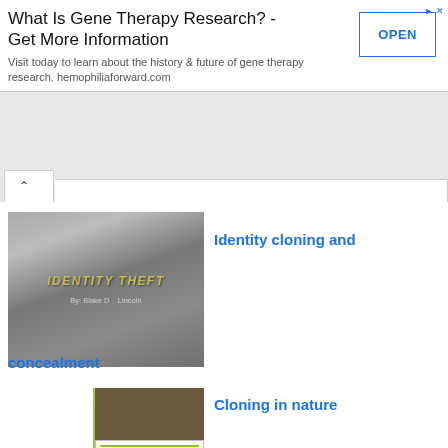[Figure (screenshot): Advertisement banner for gene therapy research with OPEN button]
What Is Gene Therapy Research? - Get More Information
Visit today to learn about the history & future of gene therapy research. hemophiliaforward.com
[Figure (screenshot): Thumbnail of Identity Theft presentation slide by Blake D. Lincoln with gray gradient background]
Identity cloning and concealment
[Figure (screenshot): Thumbnail of Cell Clock and Cloning Biology 12 presentation with green background and cell cartoon]
Cloning in nature